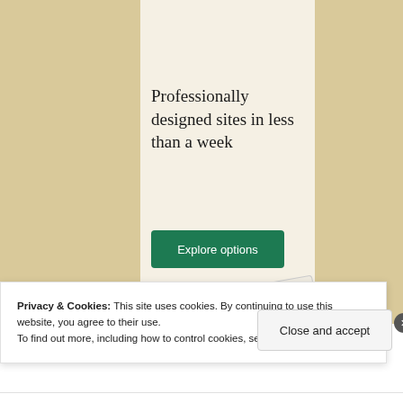[Figure (screenshot): Website advertisement showing a beige background with a lighter center panel. Text reads 'Professionally designed sites in less than a week' with a green 'Explore options' button below.]
Professionally designed sites in less than a week
Privacy & Cookies: This site uses cookies. By continuing to use this website, you agree to their use.
To find out more, including how to control cookies, see here: Cookie Policy